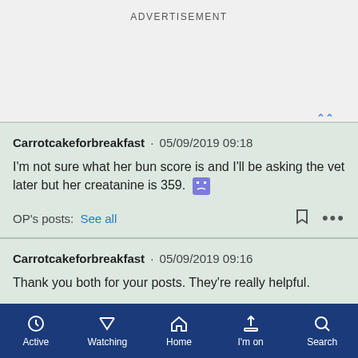ADVERTISEMENT
Carrotcakeforbreakfast · 05/09/2019 09:18
I'm not sure what her bun score is and I'll be asking the vet later but her creatanine is 359. 😟
OP's posts: See all
Carrotcakeforbreakfast · 05/09/2019 09:16
Thank you both for your posts. They're really helpful.
The vet mentioned fluid therapy but then said considering
Active  Watching  Home  I'm on  Search